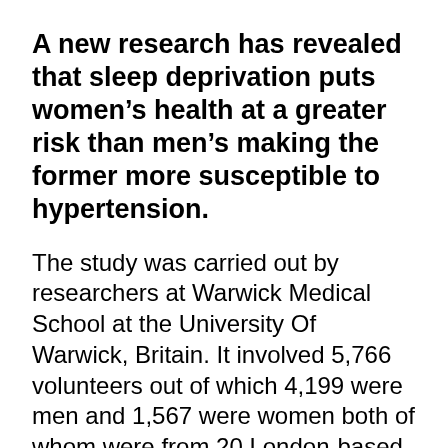A new research has revealed that sleep deprivation puts women's health at a greater risk than men's making the former more susceptible to hypertension.
The study was carried out by researchers at Warwick Medical School at the University Of Warwick, Britain. It involved 5,766 volunteers out of which 4,199 were men and 1,567 were women both of whom were from 20 London-based civil service departments.